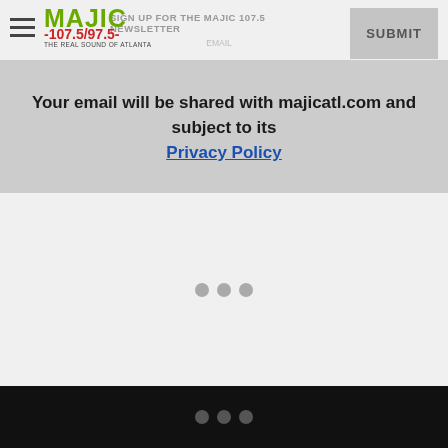SIGN UP FOR THE MAJIC 107.5 NEWSLETTER
[Figure (logo): Majic 107.5/97.5 radio station logo with tagline THE REAL SOUND OF ATLANTA]
SUBMIT
Your email will be shared with majicatl.com and subject to its Privacy Policy
[Figure (other): Three gray loading dots in the center of the content area]
Three dots navigation indicator in dark footer bar